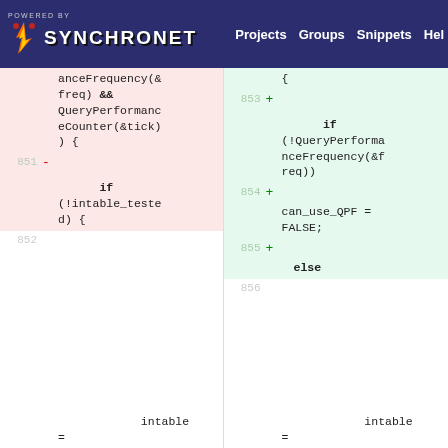POWERED BY SYNCHRONET | Projects | Groups | Snippets | Help
[Figure (screenshot): Code diff view showing two columns: left (old, deletion, pink) with line 851 showing '- if (!intable_tested) {' and line 852 neutral, right (new, addition, green) with line 853 '+ if (!QueryPerformanceFrequency(&freq))' line 854 '+ can_use_QPF = FALSE;' line 855 '+ else' line 856 neutral 'intable ='. Both columns also show partial lines at top: left 'anceFrequency(&freq) && QueryPerformanceCounter(&tick) ) {', right '{']